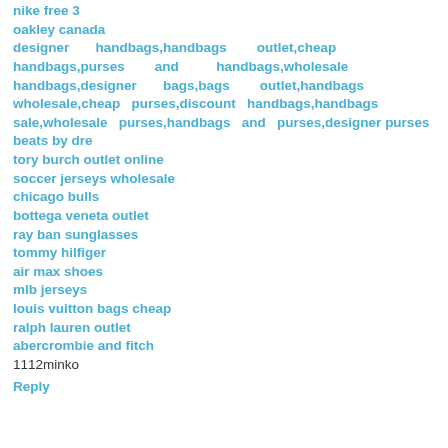nike free 3
oakley canada
designer handbags,handbags outlet,cheap handbags,purses and handbags,wholesale handbags,designer bags,bags outlet,handbags wholesale,cheap purses,discount handbags,handbags sale,wholesale purses,handbags and purses,designer purses
beats by dre
tory burch outlet online
soccer jerseys wholesale
chicago bulls
bottega veneta outlet
ray ban sunglasses
tommy hilfiger
air max shoes
mlb jerseys
louis vuitton bags cheap
ralph lauren outlet
abercrombie and fitch
1112minko
Reply